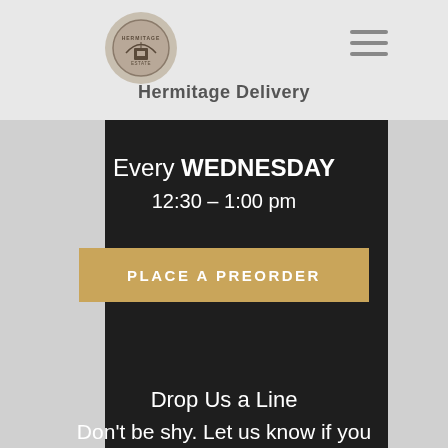Hermitage Delivery
Every WEDNESDAY
12:30 – 1:00 pm
PLACE A PREORDER
Drop Us a Line
Don't be shy. Let us know if you